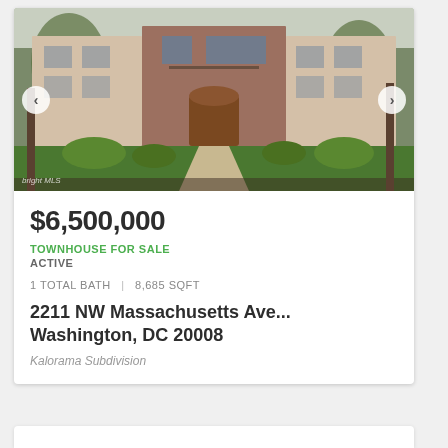[Figure (photo): Exterior photo of a multi-story brick and stone townhouse with manicured lawn, shrubs, walkway, and trees in foreground. Navigation arrows on left and right sides. Watermark 'bright MLS' in lower left corner.]
$6,500,000
TOWNHOUSE FOR SALE
ACTIVE
1 TOTAL BATH  |  8,685 SQFT
2211 NW Massachusetts Ave...
Washington, DC 20008
Kalorama Subdivision